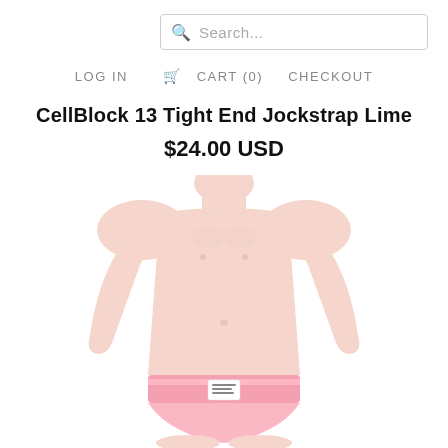Search...
LOG IN   CART (0)   CHECKOUT
CellBlock 13 Tight End Jockstrap Lime
$24.00 USD
[Figure (photo): Product photo of a male torso mannequin wearing a lime/pink jockstrap with a white label patch on the waistband, shown from chest to upper thighs against a white background.]